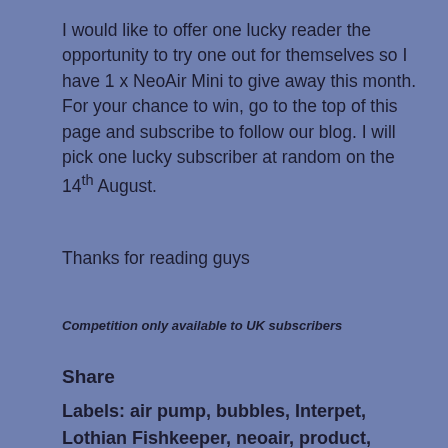I would like to offer one lucky reader the opportunity to try one out for themselves so I have 1 x NeoAir Mini to give away this month. For your chance to win, go to the top of this page and subscribe to follow our blog. I will pick one lucky subscriber at random on the 14th August.
Thanks for reading guys
Competition only available to UK subscribers
Share
Labels: air pump, bubbles, Interpet, Lothian Fishkeeper, neoair, product, review